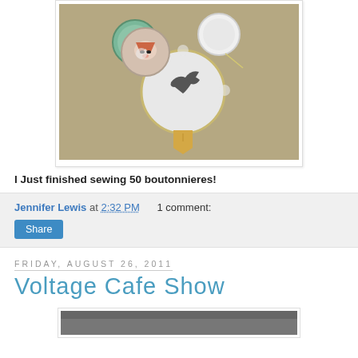[Figure (photo): Photo of handmade felt boutonnieres/badges arranged on a tan/khaki background, showing circular fabric pieces with embroidered designs including a bird and a fox face, with a ribbon banner below one.]
I Just finished sewing 50 boutonnieres!
Jennifer Lewis at 2:32 PM   1 comment:
Share
Friday, August 26, 2011
Voltage Cafe Show
[Figure (photo): Partial bottom of page showing the top of another blog post photo, cropped off.]